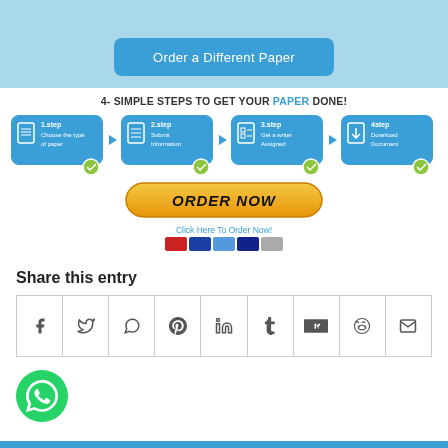[Figure (infographic): Top light blue banner with 'Order a Different Paper' button in darker blue rounded rectangle]
[Figure (infographic): 4 simple steps infographic: 1.step Choose the type of paper, 2.step Submit Information, 3.step Get a writer Assigned, 4.step Download Document — connected by arrows with green check marks, followed by ORDER NOW button, Click Here To Order Now text, and payment card icons]
Share this entry
[Figure (infographic): Share icons grid: Facebook, Twitter, WhatsApp, Pinterest, LinkedIn, Tumblr, VK, Reddit, Email]
[Figure (infographic): WhatsApp floating button (green circle with phone icon) in bottom left]